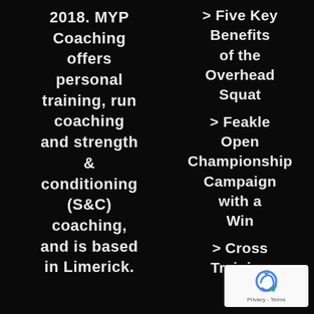2018. MYP Coaching offers personal training, run coaching and strength & conditioning (S&C) coaching, and is based in Limerick.
> Five Key Benefits of the Overhead Squat
> Feakle Open Championship Campaign with a Win
> Cross Training for
[Figure (logo): reCAPTCHA badge with Privacy - Terms text]